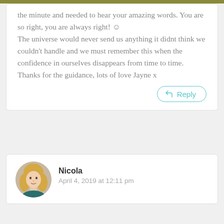the minute and needed to hear your amazing words. You are so right, you are always right! ☺ The universe would never send us anything it didnt think we couldn't handle and we must remember this when the confidence in ourselves disappears from time to time. Thanks for the guidance, lots of love Jayne x
Reply
[Figure (photo): Round avatar photo of a blonde woman named Nicola]
Nicola
April 4, 2019 at 12:11 pm